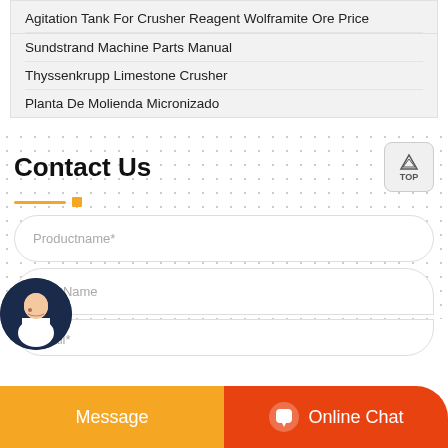Agitation Tank For Crusher Reagent Wolframite Ore Price
Sundstrand Machine Parts Manual
Thyssenkrupp Limestone Crusher
Planta De Molienda Micronizado
Contact Us
Productname*
Your Name
Email*